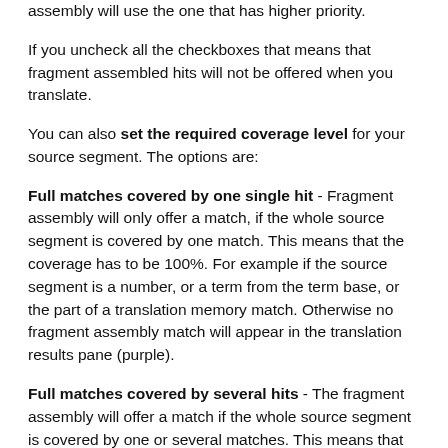assembly will use the one that has higher priority.
If you uncheck all the checkboxes that means that fragment assembled hits will not be offered when you translate.
You can also set the required coverage level for your source segment. The options are:
Full matches covered by one single hit - Fragment assembly will only offer a match, if the whole source segment is covered by one match. This means that the coverage has to be 100%. For example if the source segment is a number, or a term from the term base, or the part of a translation memory match. Otherwise no fragment assembly match will appear in the translation results pane (purple).
Full matches covered by several hits - The fragment assembly will offer a match if the whole source segment is covered by one or several matches. This means that